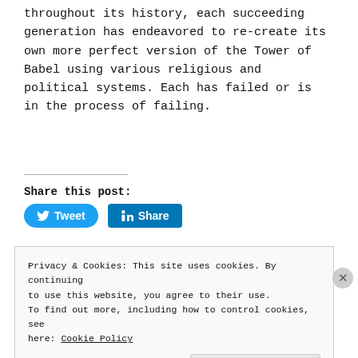throughout its history, each succeeding generation has endeavored to re-create its own more perfect version of the Tower of Babel using various religious and political systems. Each has failed or is in the process of failing.
Share this post:
[Figure (other): Social share buttons: Tweet (Twitter) and Share (LinkedIn)]
Privacy & Cookies: This site uses cookies. By continuing to use this website, you agree to their use. To find out more, including how to control cookies, see here: Cookie Policy
Close and accept